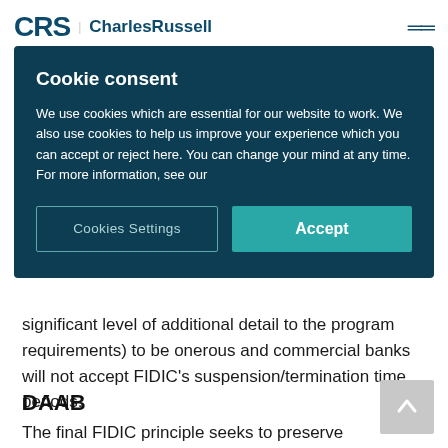CRS | CharlesRussell
Cookie consent
We use cookies which are essential for our website to work. We also use cookies to help us improve your experience which you can accept or reject here. You can change your mind at any time. For more information, see our
Cookies Settings
Accept
significant level of additional detail to the program requirements) to be onerous and commercial banks will not accept FIDIC's suspension/termination time periods.
DAAB
The final FIDIC principle seeks to preserve the role of the dispute avoidance/ adjudication board (DAAB) or dispute adjudication board (DAB) on condition...